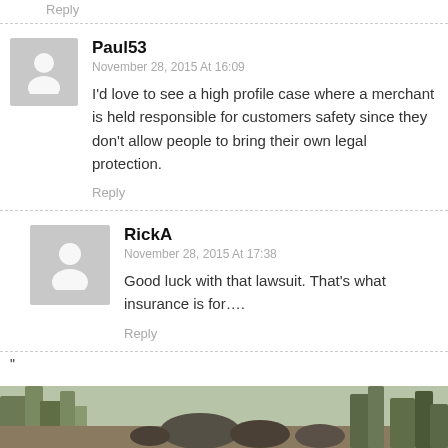Reply
Paul53
November 28, 2015 At 16:09
I'd love to see a high profile case where a merchant is held responsible for customers safety since they don't allow people to bring their own legal protection.
Reply
RickA
November 28, 2015 At 17:38
Good luck with that lawsuit. That's what insurance is for….
Reply
"
[Figure (photo): Outdoor nature/landscape photo visible at the bottom of the page, partially cropped.]